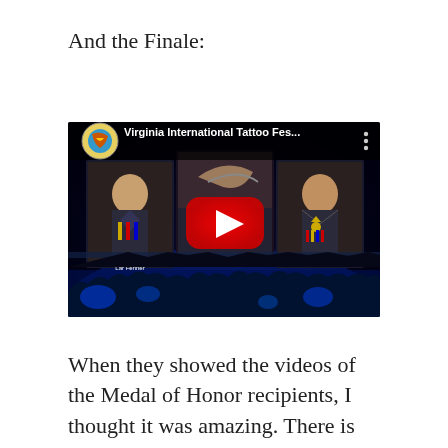And the Finale:
[Figure (screenshot): YouTube video thumbnail showing Virginia International Tattoo Festival with large screens displaying Medal of Honor recipient Gary Beikirch, audience in blue lighting, and a YouTube play button overlay.]
When they showed the videos of the Medal of Honor recipients, I thought it was amazing.  There is no way I could